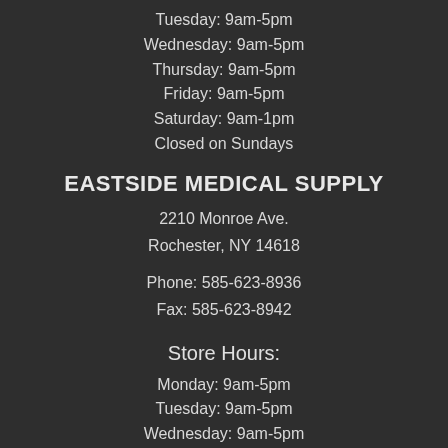Tuesday: 9am-5pm
Wednesday: 9am-5pm
Thursday: 9am-5pm
Friday: 9am-5pm
Saturday: 9am-1pm
Closed on Sundays
EASTSIDE MEDICAL SUPPLY
2210 Monroe Ave.
Rochester, NY 14618
Phone: 585-623-8936
Fax: 585-623-8942
Store Hours:
Monday: 9am-5pm
Tuesday: 9am-5pm
Wednesday: 9am-5pm